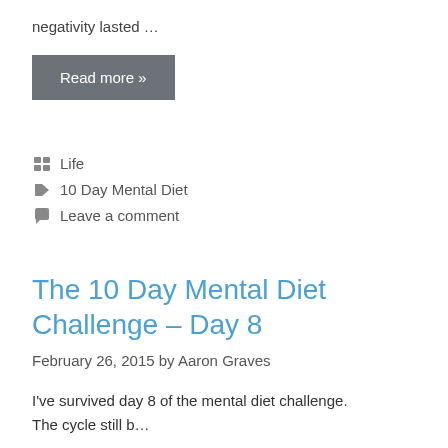negativity lasted …
Read more »
Life
10 Day Mental Diet
Leave a comment
The 10 Day Mental Diet Challenge – Day 8
February 26, 2015 by Aaron Graves
I've survived day 8 of the mental diet challenge. The cycle still b…